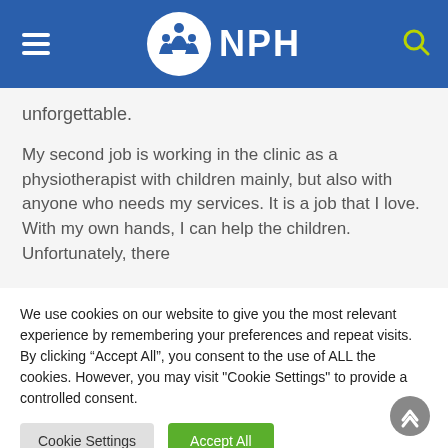[Figure (logo): NPH organization logo: white circle with silhouette of adult and children figures, next to bold white text 'NPH' on blue header bar]
unforgettable.
My second job is working in the clinic as a physiotherapist with children mainly, but also with anyone who needs my services. It is a job that I love. With my own hands, I can help the children. Unfortunately, there
We use cookies on our website to give you the most relevant experience by remembering your preferences and repeat visits. By clicking “Accept All”, you consent to the use of ALL the cookies. However, you may visit "Cookie Settings" to provide a controlled consent.